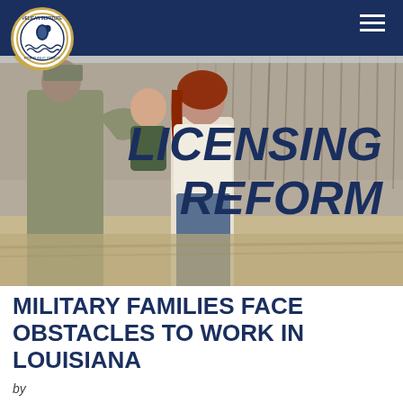Pelican Institute for Public Policy
[Figure (photo): A military family — soldier in camouflage uniform, woman with red hair, and a young child — standing outdoors in a field with bare trees in the background. The text 'LICENSING REFORM' appears in large bold dark blue italic text overlaid on the right side of the image.]
MILITARY FAMILIES FACE OBSTACLES TO WORK IN LOUISIANA
by